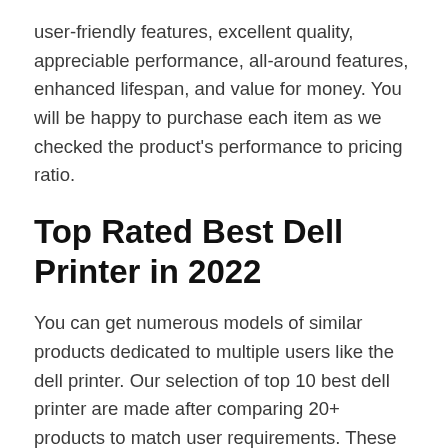user-friendly features, excellent quality, appreciable performance, all-around features, enhanced lifespan, and value for money. You will be happy to purchase each item as we checked the product's performance to pricing ratio.
Top Rated Best Dell Printer in 2022
You can get numerous models of similar products dedicated to multiple users like the dell printer. Our selection of top 10 best dell printer are made after comparing 20+ products to match user requirements. These products are superbly performing, practical, and sturdy for individual